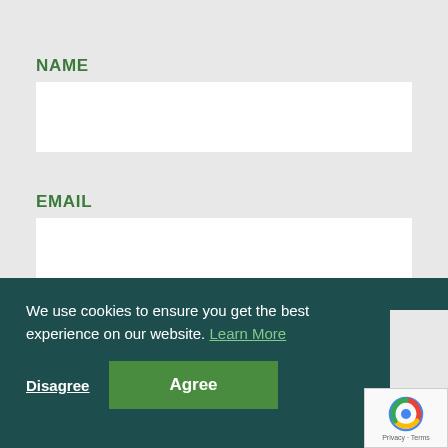NAME
EMAIL
PHONE NUMBER
We use cookies to ensure you get the best experience on our website. Learn More
Disagree
Agree
MESSAGE
[Figure (other): reCAPTCHA privacy badge with logo, Privacy and Terms text]